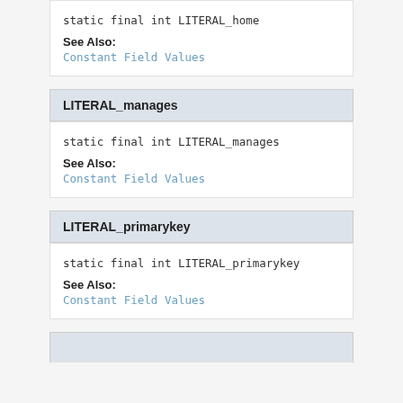static final int LITERAL_home
See Also:
Constant Field Values
LITERAL_manages
static final int LITERAL_manages
See Also:
Constant Field Values
LITERAL_primarykey
static final int LITERAL_primarykey
See Also:
Constant Field Values
...